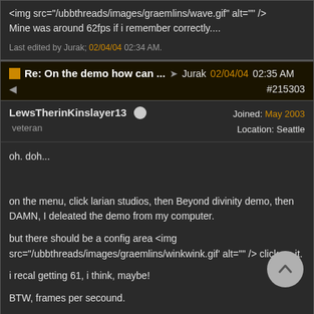<img src="/ubbthreads/images/graemlins/wave.gif" alt="" />
Mine was around 62fps if i remember correctly....
Last edited by Jurak; 02/04/04 02:34 AM.
Re: On the demo how can ... Jurak 02/04/04 02:35 AM #215303
LewsTherinKinslayer13   Joined: May 2003   Location: Seattle   veteran
oh. doh...

on the menu, click larian studios, then Beyond divinity demo, then DAMN, I deleated the demo from my computer.

but there should be a config area <img src="/ubbthreads/images/graemlins/winkwink.gif' alt="" /> click on it.

i recal getting 61, i think, maybe!

BTW, frames per secound.

its strange.
pc gamer always listos those for ton games.